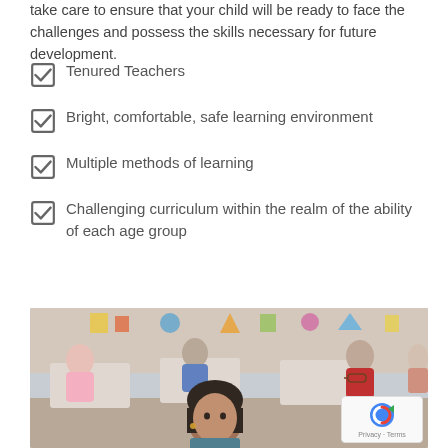take care to ensure that your child will be ready to face the challenges and possess the skills necessary for future development.
Tenured Teachers
Bright, comfortable, safe learning environment
Multiple methods of learning
Challenging curriculum within the realm of the ability of each age group
[Figure (photo): Photo of elementary school children sitting at desks in a bright classroom, with a girl in the foreground looking at the camera]